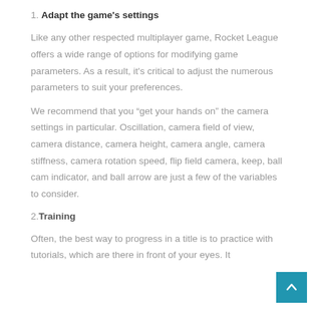1. Adapt the game's settings
Like any other respected multiplayer game, Rocket League offers a wide range of options for modifying game parameters. As a result, it's critical to adjust the numerous parameters to suit your preferences.
We recommend that you “get your hands on” the camera settings in particular. Oscillation, camera field of view, camera distance, camera height, camera angle, camera stiffness, camera rotation speed, flip field camera, keep, ball cam indicator, and ball arrow are just a few of the variables to consider.
2. Training
Often, the best way to progress in a title is to practice with tutorials, which are there in front of your eyes. It